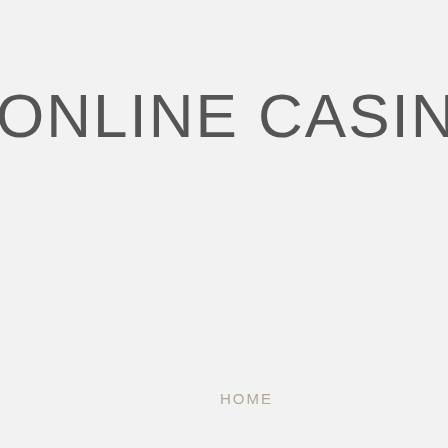ONLINE CASINO STRATEG
HOME
ABOUT US